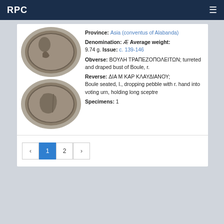RPC
[Figure (photo): Two ancient Roman bronze coins, one above the other, showing figures on each side]
Province: Asia (conventus of Alabanda)
Denomination: Æ Average weight: 9.74 g. Issue: c. 139-146
Obverse: ΒΟΥΛΗ ΤΡΑΠΕΖΟΠΟΛΕΙΤΩΝ; turreted and draped bust of Boule, r.
Reverse: ΔΙΑ Μ ΚΑΡ ΚΛΑΥΔΙΑΝΟΥ; Boule seated, l., dropping pebble with r. hand into voting urn, holding long sceptre
Specimens: 1
‹ 1 2 ›